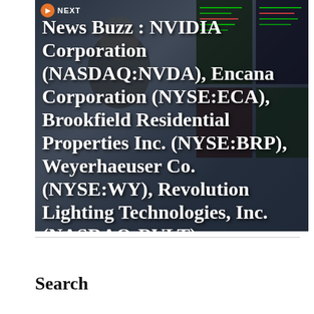[Figure (photo): Stock exchange trading floor photo with a trader looking upward, overlaid with bold white text listing company names and stock tickers]
News Buzz : NVIDIA Corporation (NASDAQ:NVDA), Encana Corporation (NYSE:ECA), Brookfield Residential Properties Inc. (NYSE:BRP), Weyerhaeuser Co. (NYSE:WY), Revolution Lighting Technologies, Inc. (NASDAQ:RVLT)
Search